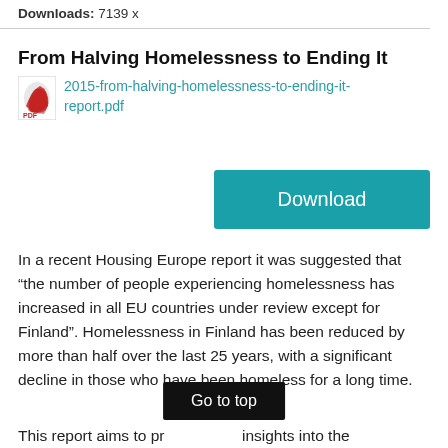Downloads: 7139 x
From Halving Homelessness to Ending It
2015-from-halving-homelessness-to-ending-it-report.pdf
Download
In a recent Housing Europe report it was suggested that "the number of people experiencing homelessness has increased in all EU countries under review except for Finland". Homelessness in Finland has been reduced by more than half over the last 25 years, with a significant decline in those who have been homeless for a long time.
Go to top
This report aims to pr insights into the